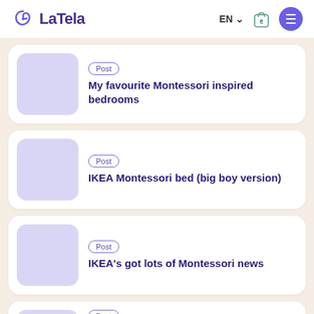LaTela — EN — bag — menu
Post — My favourite Montessori inspired bedrooms
Post — IKEA Montessori bed (big boy version)
Post — IKEA's got lots of Montessori news
Post